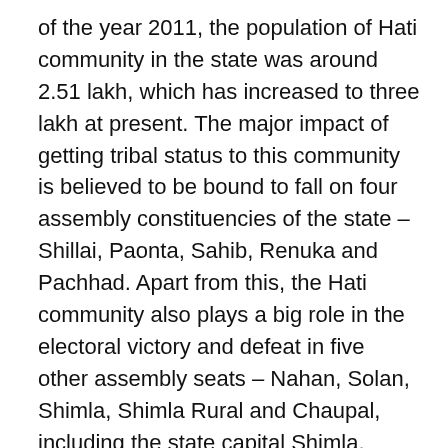of the year 2011, the population of Hati community in the state was around 2.51 lakh, which has increased to three lakh at present. The major impact of getting tribal status to this community is believed to be bound to fall on four assembly constituencies of the state – Shillai, Paonta, Sahib, Renuka and Pachhad. Apart from this, the Hati community also plays a big role in the electoral victory and defeat in five other assembly seats – Nahan, Solan, Shimla, Shimla Rural and Chaupal, including the state capital Shimla.